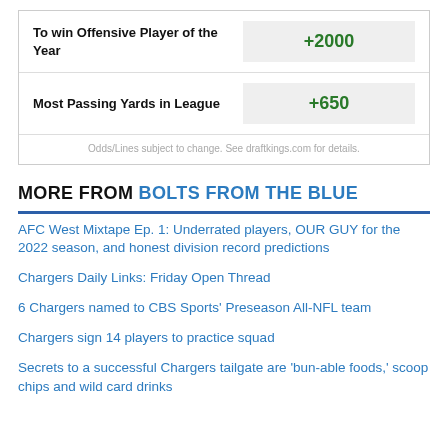| Category | Odds |
| --- | --- |
| To win Offensive Player of the Year | +2000 |
| Most Passing Yards in League | +650 |
Odds/Lines subject to change. See draftkings.com for details.
MORE FROM BOLTS FROM THE BLUE
AFC West Mixtape Ep. 1: Underrated players, OUR GUY for the 2022 season, and honest division record predictions
Chargers Daily Links: Friday Open Thread
6 Chargers named to CBS Sports' Preseason All-NFL team
Chargers sign 14 players to practice squad
Secrets to a successful Chargers tailgate are 'bun-able foods,' scoop chips and wild card drinks